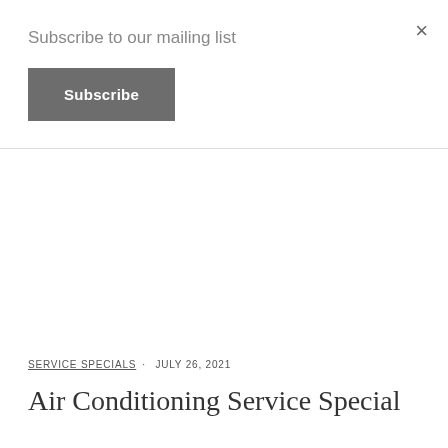Subscribe to our mailing list
Subscribe
×
SERVICE SPECIALS · JULY 26, 2021
Air Conditioning Service Special